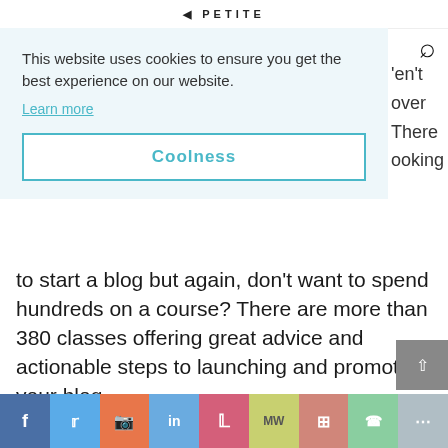PETITE
This website uses cookies to ensure you get the best experience on our website.
Learn more
Coolness
to start a blog but again, don’t want to spend hundreds on a course? There are more than 380 classes offering great advice and actionable steps to launching and promoting your blog.
f  ᴛ  d  in  p  MW  m  WhatsApp  More